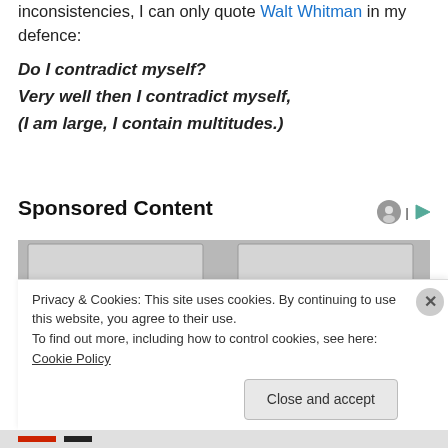inconsistencies, I can only quote Walt Whitman in my defence:
Do I contradict myself?
Very well then I contradict myself,
(I am large, I contain multitudes.)
Sponsored Content
[Figure (photo): Photo of a Social Security Administration office building exterior showing a large sign reading 'SOCIAL SECURITY ADMINISTRATION' with red poles on either side]
Privacy & Cookies: This site uses cookies. By continuing to use this website, you agree to their use.
To find out more, including how to control cookies, see here: Cookie Policy
Close and accept